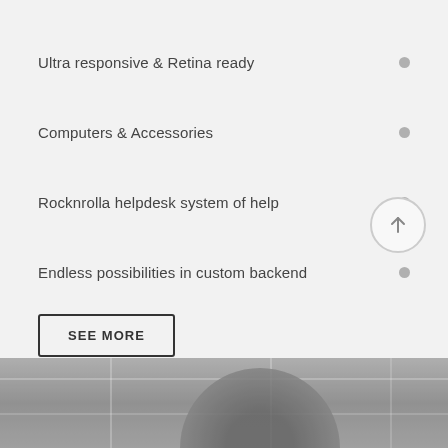Ultra responsive & Retina ready
Computers & Accessories
Rocknrolla helpdesk system of help
Endless possibilities in custom backend
SEE MORE
[Figure (photo): Blurred black and white photo of a person seen from behind with bookshelves in the background]